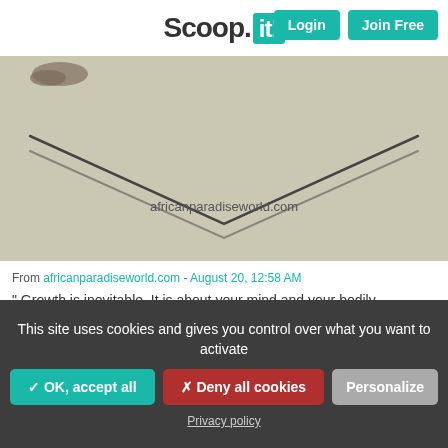Scoop.it! Login Join Free
[Figure (photo): Sandy surface with a drawn/traced V-shape or triangle outline on the ground, with what appears to be a foot or sandal visible at the top left. Watermark text: africanparadiseworld.com]
From africanparadiseworld.com - August 20, 12:58 AM
" Growth is inevitable. It is about your mind and your bodily changes. Use these quotes about aging to understand life better."
email   mor
This site uses cookies and gives you control over what you want to activate
✓ OK, accept all   ✗ Deny all cookies   Personalize
Privacy policy